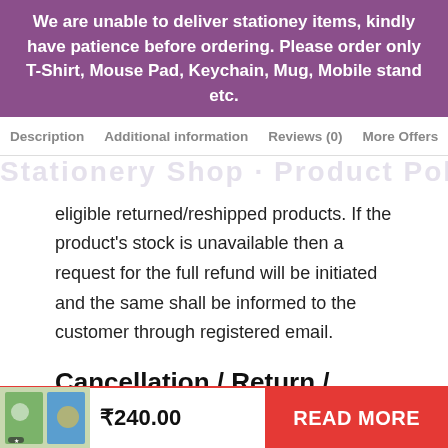We are unable to deliver stationey items, kindly have patience before ordering. Please order only T-Shirt, Mouse Pad, Keychain, Mug, Mobile stand etc.
Description  Additional information  Reviews (0)  More Offers
eligible returned/reshipped products. If the product’s stock is unavailable then a request for the full refund will be initiated and the same shall be informed to the customer through registered email.
Cancellation / Return / Exchange Policy
Stationery Shop allows an exchange of the delivered products as per the following
₹240.00  READ MORE